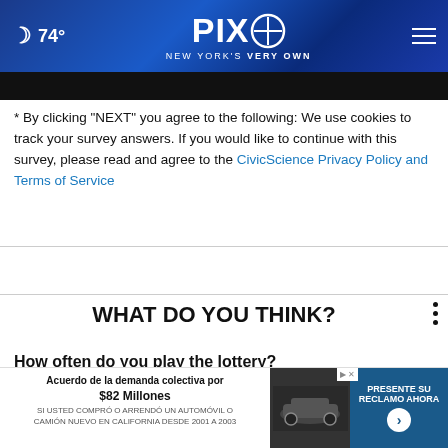74° PIX11 NEW YORK'S VERY OWN
[Figure (screenshot): Dark video player bar]
* By clicking "NEXT" you agree to the following: We use cookies to track your survey answers. If you would like to continue with this survey, please read and agree to the CivicScience Privacy Policy and Terms of Service
WHAT DO YOU THINK?
How often do you play the lottery?
Very often
[Figure (screenshot): Advertisement banner: Acuerdo de la demanda colectiva por $82 Millones. Si usted compro o arrendo un automovil o camion nuevo en California desde 2001 a 2003. PRESENTE SU RECLAMO AHORA]